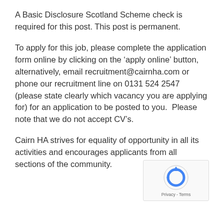A Basic Disclosure Scotland Scheme check is required for this post. This post is permanent.
To apply for this job, please complete the application form online by clicking on the ‘apply online’ button, alternatively, email recruitment@cairnha.com or phone our recruitment line on 0131 524 2547 (please state clearly which vacancy you are applying for) for an application to be posted to you.  Please note that we do not accept CV’s.
Cairn HA strives for equality of opportunity in all its activities and encourages applicants from all sections of the community.
[Figure (logo): reCAPTCHA logo with Privacy - Terms footer text]